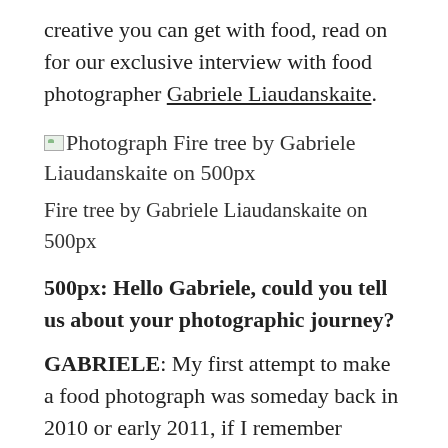creative you can get with food, read on for our exclusive interview with food photographer Gabriele Liaudanskaite.
[Figure (photo): Broken image placeholder for 'Photograph Fire tree by Gabriele Liaudanskaite on 500px']
Fire tree by Gabriele Liaudanskaite on 500px
500px: Hello Gabriele, could you tell us about your photographic journey?
GABRIELE: My first attempt to make a food photograph was someday back in 2010 or early 2011, if I remember correctly. I just wanted to capture the moment. The result was a simple, amateur photo of a